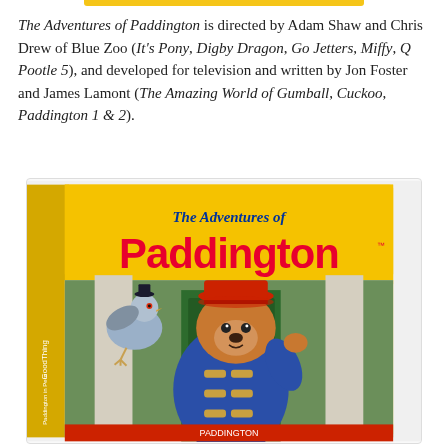The Adventures of Paddington is directed by Adam Shaw and Chris Drew of Blue Zoo (It's Pony, Digby Dragon, Go Jetters, Miffy, Q Pootle 5), and developed for television and written by Jon Foster and James Lamont (The Amazing World of Gumball, Cuckoo, Paddington 1 & 2).
[Figure (photo): The Adventures of Paddington DVD box set with animated bear character in blue coat and red hat, along with a pigeon character, on a yellow and white box]